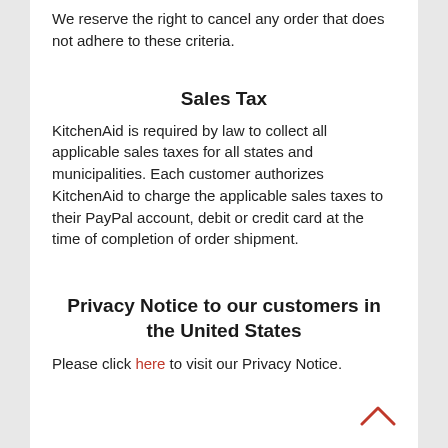We reserve the right to cancel any order that does not adhere to these criteria.
Sales Tax
KitchenAid is required by law to collect all applicable sales taxes for all states and municipalities. Each customer authorizes KitchenAid to charge the applicable sales taxes to their PayPal account, debit or credit card at the time of completion of order shipment.
Privacy Notice to our customers in the United States
Please click here to visit our Privacy Notice.